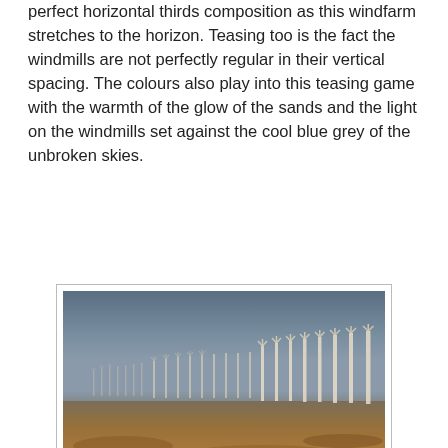perfect horizontal thirds composition as this windfarm stretches to the horizon. Teasing too is the fact the windmills are not perfectly regular in their vertical spacing. The colours also play into this teasing game with the warmth of the glow of the sands and the light on the windmills set against the cool blue grey of the unbroken skies.
[Figure (photo): A wind farm at the Zafarana Wind Farm at the desert road of Suez outside of Cairo, Egypt. Rows of wind turbines stretch to the horizon across sandy desert terrain under a blue-grey sky. Reuters watermark visible in bottom right.]
Wind turbines, which generate renewable energy, are seen on the Zafarana Wind Farm at the desert road of Suez outside of Cairo, Egypt September 1, 2020.  REUTERS/Amr Abdallah Dalshha
Hard to resist this picture of the moment captured of fire and fury as a missile bursts from its pod in a ball of flames. You